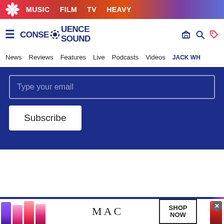[Figure (screenshot): Top navigation banner with gradient background (red to purple) showing a logo and nav items: MUSIC, FILM, TV, HEAVY]
[Figure (screenshot): Main site header with hamburger menu, Consequence Sound logo with gear icon, and icons for store, search, and deals]
News  Reviews  Features  Live  Podcasts  Videos  JACK WH...
[Figure (screenshot): Blue subscribe section with email input field 'Type your email' and Subscribe button]
[Figure (screenshot): MAC Cosmetics advertisement banner showing lipstick tubes, MAC logo, and SHOP NOW button]